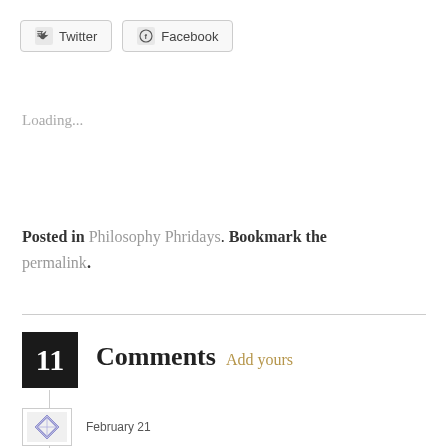[Figure (other): Social share buttons: Twitter and Facebook]
Loading...
Posted in Philosophy Phridays. Bookmark the permalink.
11 Comments  Add yours